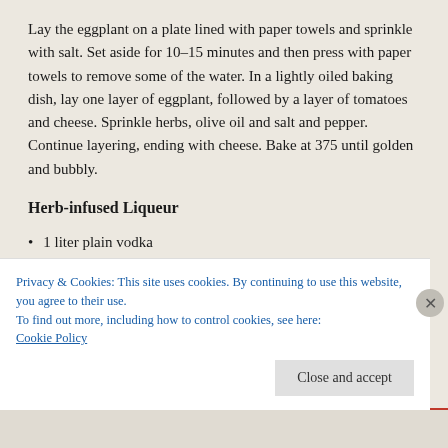Lay the eggplant on a plate lined with paper towels and sprinkle with salt. Set aside for 10-15 minutes and then press with paper towels to remove some of the water. In a lightly oiled baking dish, lay one layer of eggplant, followed by a layer of tomatoes and cheese. Sprinkle herbs, olive oil and salt and pepper. Continue layering, ending with cheese. Bake at 375 until golden and bubbly.
Herb-infused Liqueur
1 liter plain vodka
1 cup fresh or dried Lemon Verbena leaves (or other herbs)
Privacy & Cookies: This site uses cookies. By continuing to use this website, you agree to their use.
To find out more, including how to control cookies, see here: Cookie Policy